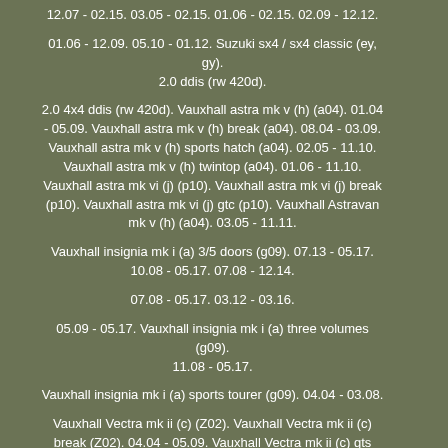12.07 - 02.15. 03.05 - 02.15. 01.06 - 02.15. 02.09 - 12.12.
01.06 - 12.09. 05.10 - 01.12. Suzuki sx4 / sx4 classic (ey, gy). 2.0 ddis (rw 420d).
2.0 4x4 ddis (rw 420d). Vauxhall astra mk v (h) (a04). 01.04 - 05.09. Vauxhall astra mk v (h) break (a04). 08.04 - 03.09. Vauxhall astra mk v (h) sports hatch (a04). 02.05 - 11.10. Vauxhall astra mk v (h) twintop (a04). 01.06 - 11.10. Vauxhall astra mk vi (j) (p10). Vauxhall astra mk vi (j) break (p10). Vauxhall astra mk vi (j) gtc (p10). Vauxhall Astravan mk v (h) (a04). 03.05 - 11.11.
Vauxhall insignia mk i (a) 3/5 doors (g09). 07.13 - 05.17. 10.08 - 05.17. 07.08 - 12.14.
07.08 - 05.17. 03.12 - 03.16.
05.09 - 05.17. Vauxhall insignia mk i (a) three volumes (g09). 11.08 - 05.17.
Vauxhall insignia mk i (a) sports tourer (g09). 04.04 - 03.08.
Vauxhall Vectra mk ii (c) (Z02). Vauxhall Vectra mk ii (c) break (Z02). 04.04 - 05.09. Vauxhall Vectra mk ii (c) gts (Z02). 04.04 - 07.08.
Angetriebene aggregate: engine camshaft code: dth. Vauxhall zafira mk ii (b) (a05). 07.05 - 11.14. Vauxhall zafira mk iii